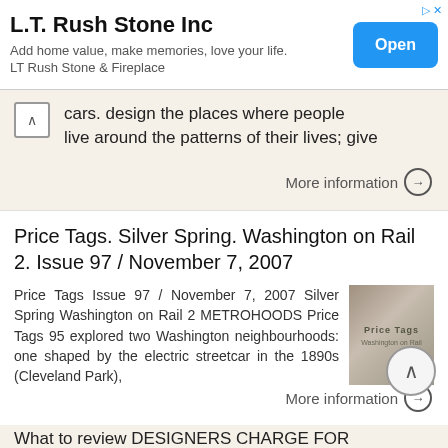[Figure (other): Advertisement banner for L.T. Rush Stone Inc with Open button]
cars. design the places where people live around the patterns of their lives; give
More information →
Price Tags. Silver Spring. Washington on Rail 2. Issue 97 / November 7, 2007
Price Tags Issue 97 / November 7, 2007 Silver Spring Washington on Rail 2 METROHOODS Price Tags 95 explored two Washington neighbourhoods: one shaped by the electric streetcar in the 1890s (Cleveland Park),
[Figure (photo): Thumbnail image of Price Tags publication cover]
More information →
What to review DESIGNERS CHARGE FOR